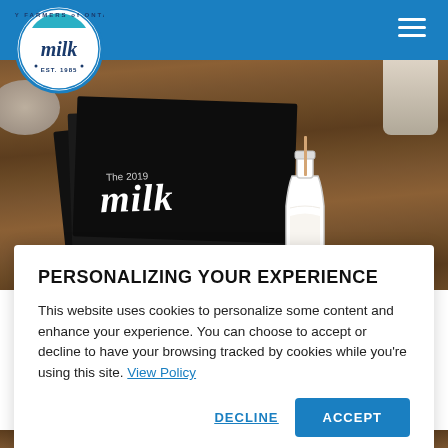[Figure (screenshot): Dairy Farmers of Ontario milk logo — circular badge with 'milk' script text and 'EST. 1985' text]
[Figure (photo): Hero photo of a rustic wooden table with black books/cards displaying 'The 2019 milk' text, a glass milk bottle with straw, ceramic bowls, and cups]
PERSONALIZING YOUR EXPERIENCE
This website uses cookies to personalize some content and enhance your experience. You can choose to accept or decline to have your browsing tracked by cookies while you're using this site. View Policy
DECLINE
ACCEPT